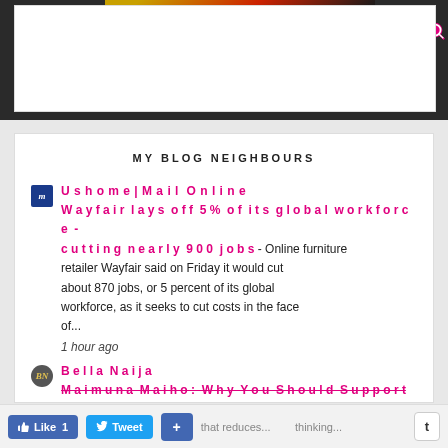[Figure (screenshot): Website header navigation bar with hamburger menu, logo area with red/gold magazine cover graphic, and social media icons (Twitter, Facebook, YouTube, Instagram, Pinterest, Search)]
MY BLOG NEIGHBOURS
Ushome | Mail Online
Wayfair lays off 5% of its global workforce - cutting nearly 900 jobs - Online furniture retailer Wayfair said on Friday it would cut about 870 jobs, or 5 percent of its global workforce, as it seeks to cut costs in the face of...
1 hour ago
Bella Naija
Maimuna Maiho: Why You Should Support...
Like 1   Tweet   +   t